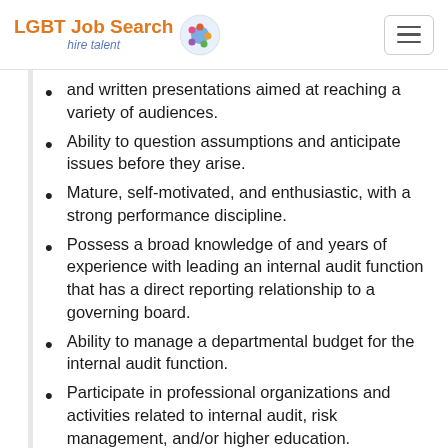LGBT Job Search hire talent
and written presentations aimed at reaching a variety of audiences.
Ability to question assumptions and anticipate issues before they arise.
Mature, self-motivated, and enthusiastic, with a strong performance discipline.
Possess a broad knowledge of and years of experience with leading an internal audit function that has a direct reporting relationship to a governing board.
Ability to manage a departmental budget for the internal audit function.
Participate in professional organizations and activities related to internal audit, risk management, and/or higher education.